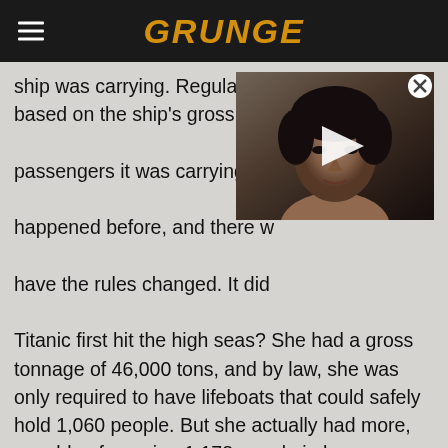GRUNGE
ship was carrying. Regulations for lifeboats were based on the ship's gross tonnage, not the number of passengers it was carrying. Disasters had happened before, and there was plenty of time to have the rules changed. It didn't happen. When Titanic first hit the high seas? She had a gross tonnage of 46,000 tons, and by law, she was only required to have lifeboats that could safely hold 1,060 people. But she actually had more, capable of carrying 1,178 people in her lifeboats. (The fact that not all of the lifeboats were filled to capacity is a whole other unfortunate issue that proves what absolute jerks people can be, even in times of crisis.)
[Figure (photo): Video thumbnail overlay showing a person with short dark hair, with a play button in the center and a close (X) button in the top right corner.]